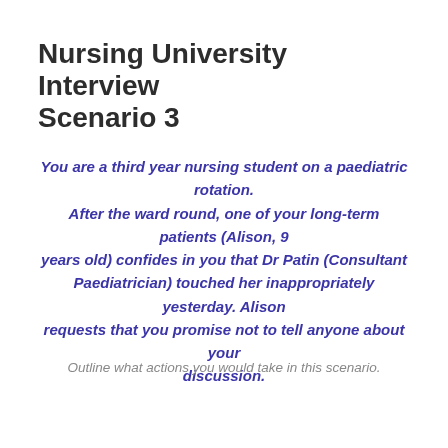Nursing University Interview Scenario 3
You are a third year nursing student on a paediatric rotation. After the ward round, one of your long-term patients (Alison, 9 years old) confides in you that Dr Patin (Consultant Paediatrician) touched her inappropriately yesterday. Alison requests that you promise not to tell anyone about your discussion.
Outline what actions you would take in this scenario.